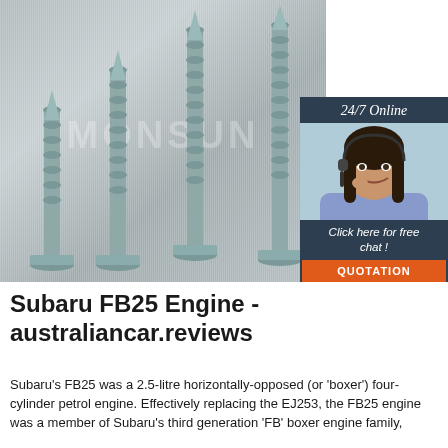[Figure (photo): Photo of four metallic flat-head screws standing upright on a brushed metal surface, with a watermark text 'MONSUN' in the center. An overlaid advertisement banner on the right shows a woman with a headset, text '24/7 Online', 'Click here for free chat!', and an orange 'QUOTATION' button on a dark blue background.]
Subaru FB25 Engine - australiancar.reviews
Subaru's FB25 was a 2.5-litre horizontally-opposed (or 'boxer') four-cylinder petrol engine. Effectively replacing the EJ253, the FB25 engine was a member of Subaru's third generation 'FB' boxer engine family,